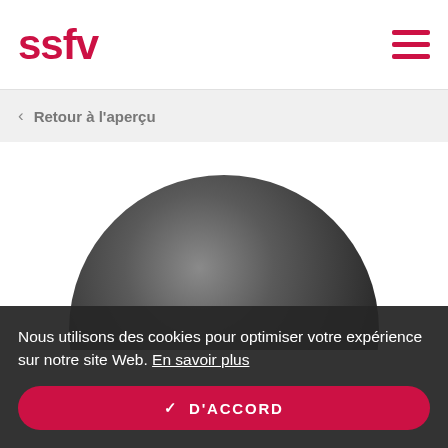ssfv
< Retour à l'aperçu
[Figure (illustration): A large dark grey sphere/ball partially visible, centered in a white rectangular card area, cropped at the bottom.]
Nous utilisons des cookies pour optimiser votre expérience sur notre site Web. En savoir plus
✓ D'ACCORD